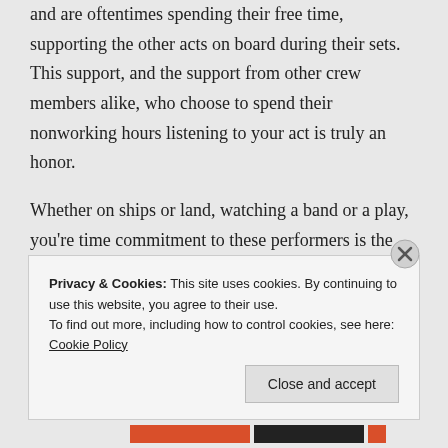and are oftentimes spending their free time, supporting the other acts on board during their sets. This support, and the support from other crew members alike, who choose to spend their nonworking hours listening to your act is truly an honor.
Whether on ships or land, watching a band or a play, you're time commitment to these performers is the best thing you can give.
Privacy & Cookies: This site uses cookies. By continuing to use this website, you agree to their use. To find out more, including how to control cookies, see here: Cookie Policy